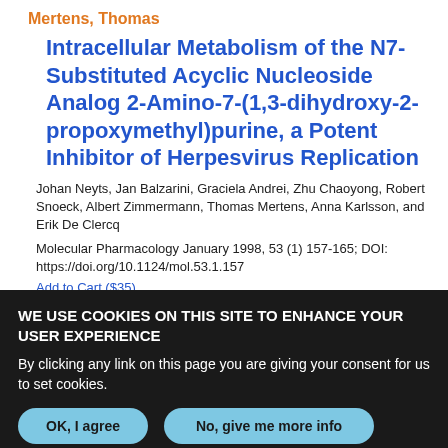Mertens, Thomas
Intracellular Metabolism of the N7-Substituted Acyclic Nucleoside Analog 2-Amino-7-(1,3-dihydroxy-2-propoxymethyl)purine, a Potent Inhibitor of Herpesvirus Replication
Johan Neyts, Jan Balzarini, Graciela Andrei, Zhu Chaoyong, Robert Snoeck, Albert Zimmermann, Thomas Mertens, Anna Karlsson, and Erik De Clercq
Molecular Pharmacology January 1998, 53 (1) 157-165; DOI: https://doi.org/10.1124/mol.53.1.157
Add to Cart ($35)
WE USE COOKIES ON THIS SITE TO ENHANCE YOUR USER EXPERIENCE
By clicking any link on this page you are giving your consent for us to set cookies.
OK, I agree
No, give me more info